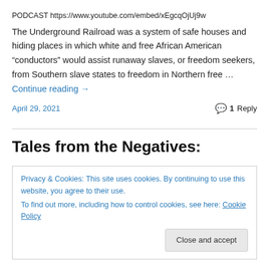PODCAST https://www.youtube.com/embed/xEgcqOjUj9w
The Underground Railroad was a system of safe houses and hiding places in which white and free African American “conductors” would assist runaway slaves, or freedom seekers, from Southern slave states to freedom in Northern free … Continue reading →
April 29, 2021
1 Reply
Tales from the Negatives:
Privacy & Cookies: This site uses cookies. By continuing to use this website, you agree to their use.
To find out more, including how to control cookies, see here: Cookie Policy
Close and accept